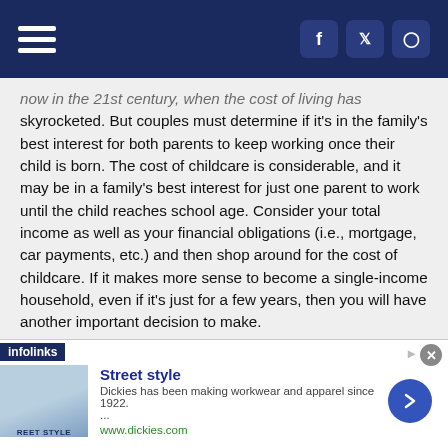Navigation header with hamburger menu and social icons (Facebook, Twitter, Instagram)
now in the 21st century, when the cost of living has skyrocketed. But couples must determine if it's in the family's best interest for both parents to keep working once their child is born. The cost of childcare is considerable, and it may be in a family's best interest for just one parent to work until the child reaches school age. Consider your total income as well as your financial obligations (i.e., mortgage, car payments, etc.) and then shop around for the cost of childcare. If it makes more sense to become a single-income household, even if it's just for a few years, then you will have another important decision to make.
* Determine who is staying home. Couples who have decided that it's in their best interests to become a single-income household once their child is born must decide who will be staying home and who will continue working. It's easy to say the who is earning the most should continue working, but